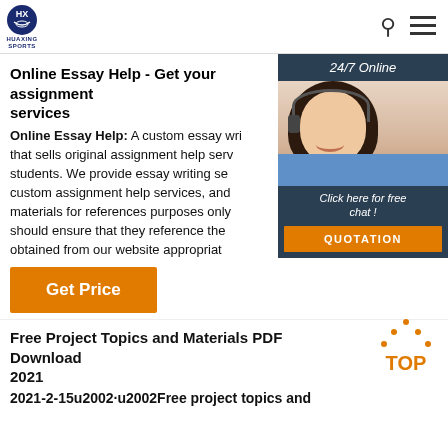HUAXING SPORTS
Online Essay Help - Get your assignment services
Online Essay Help: A custom essay writing that sells original assignment help services to students. We provide essay writing services, custom assignment help services, and materials for references purposes only. Students should ensure that they reference the materials obtained from our website appropriately.
[Figure (photo): Advertisement banner with a woman wearing a headset, labeled 24/7 Online, with a Click here for free chat button and QUOTATION button on orange background]
Get Price
Free Project Topics and Materials PDF Download 2021
2021-2-15u2002·u2002Free project topics and